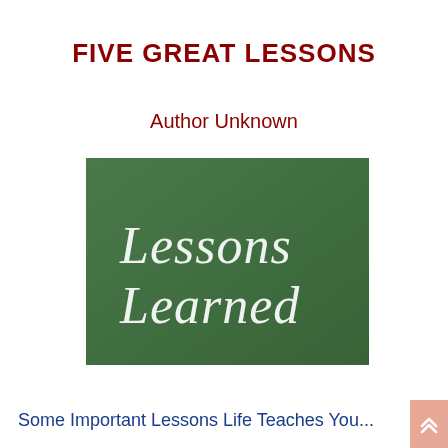FIVE GREAT LESSONS
Author Unknown
[Figure (photo): A green chalkboard with chalk handwriting reading 'Lessons Learned']
Some Important Lessons Life Teaches You...